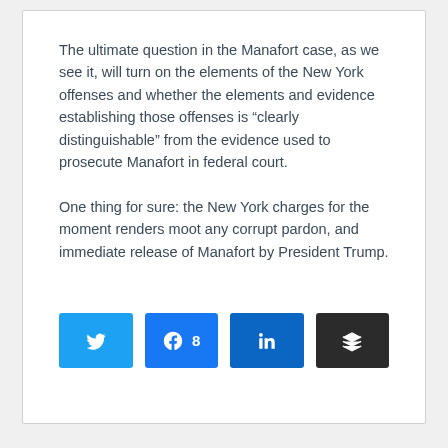The ultimate question in the Manafort case, as we see it, will turn on the elements of the New York offenses and whether the elements and evidence establishing those offenses is “clearly distinguishable” from the evidence used to prosecute Manafort in federal court.
One thing for sure: the New York charges for the moment renders moot any corrupt pardon, and immediate release of Manafort by President Trump.
[Figure (infographic): Social sharing buttons row: Twitter (blue), Facebook (blue with share count 8), LinkedIn (blue), Buffer (dark gray with layers icon)]